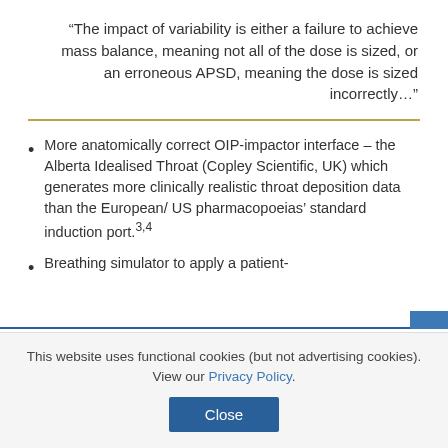“The impact of variability is either a failure to achieve mass balance, meaning not all of the dose is sized, or an erroneous APSD, meaning the dose is sized incorrectly…”
More anatomically correct OIP-impactor interface – the Alberta Idealised Throat (Copley Scientific, UK) which generates more clinically realistic throat deposition data than the European/ US pharmacopoeias’ standard induction port.3,4
Breathing simulator to apply a patient-
This website uses functional cookies (but not advertising cookies). View our Privacy Policy.